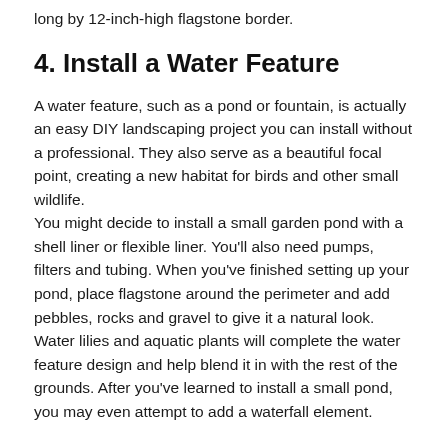long by 12-inch-high flagstone border.
4. Install a Water Feature
A water feature, such as a pond or fountain, is actually an easy DIY landscaping project you can install without a professional. They also serve as a beautiful focal point, creating a new habitat for birds and other small wildlife.
You might decide to install a small garden pond with a shell liner or flexible liner. You’ll also need pumps, filters and tubing. When you’ve finished setting up your pond, place flagstone around the perimeter and add pebbles, rocks and gravel to give it a natural look.
Water lilies and aquatic plants will complete the water feature design and help blend it in with the rest of the grounds. After you’ve learned to install a small pond, you may even attempt to add a waterfall element.